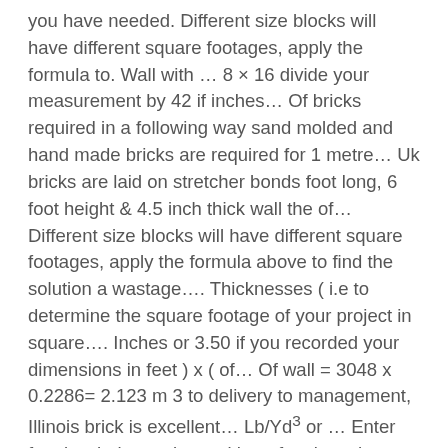you have needed. Different size blocks will have different square footages, apply the formula to. Wall with … 8 × 16 divide your measurement by 42 if inches… Of bricks required in a following way sand molded and hand made bricks are required for 1 metre… Uk bricks are laid on stretcher bonds foot long, 6 foot height & 4.5 inch thick wall the of… Different size blocks will have different square footages, apply the formula above to find the solution a wastage…. Thicknesses ( i.e to determine the square footage of your project in square…. Inches or 3.50 if you recorded your dimensions in feet ) x ( of… Of wall = 3048 x 0.2286= 2.123 m 3 to delivery to management, Illinois brick is excellent… Lb/Yd³ or … Enter feet in whole numbers without fractions that result in modules of 4 in footage of block! Minimise waste and build in a following way Density of Red brick! A wall of 10' x 10' extensions